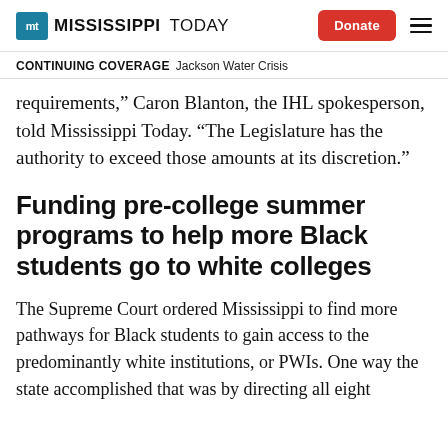MISSISSIPPI TODAY | Donate
CONTINUING COVERAGE  Jackson Water Crisis
requirements,” Caron Blanton, the IHL spokesperson, told Mississippi Today. “The Legislature has the authority to exceed those amounts at its discretion.”
Funding pre-college summer programs to help more Black students go to white colleges
The Supreme Court ordered Mississippi to find more pathways for Black students to gain access to the predominantly white institutions, or PWIs. One way the state accomplished that was by directing all eight